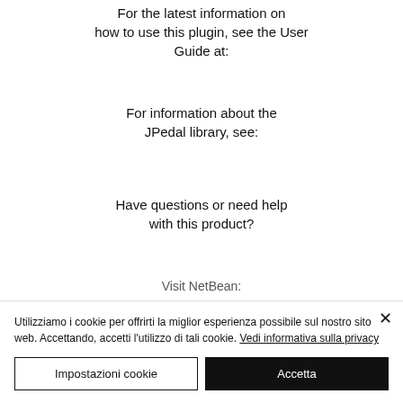For the latest information on how to use this plugin, see the User Guide at:
For information about the JPedal library, see:
Have questions or need help with this product?
Visit NetBean:
Utilizziamo i cookie per offrirti la miglior esperienza possibile sul nostro sito web. Accettando, accetti l'utilizzo di tali cookie. Vedi informativa sulla privacy
Impostazioni cookie
Accetta